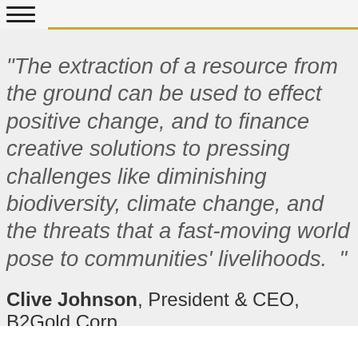≡
“The extraction of a resource from the ground can be used to effect positive change, and to finance creative solutions to pressing challenges like diminishing biodiversity, climate change, and the threats that a fast-moving world pose to communities’ livelihoods. ”
Clive Johnson, President & CEO, B2Gold Corp.